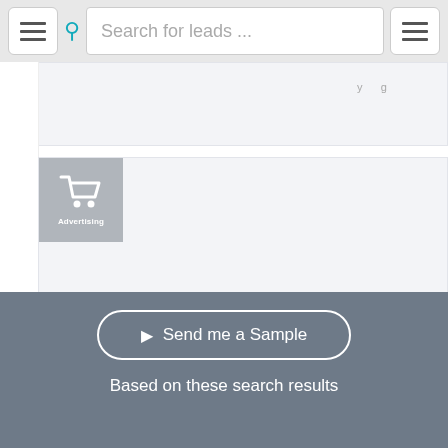[Figure (screenshot): Top navigation bar with hamburger menu button, teal search icon, search input field with placeholder 'Search for leads ...', and right hamburger menu button]
[Figure (screenshot): Advertising category tile with shopping cart icon on gray background, partially visible content card above]
[Figure (screenshot): Pagination controls: Previous, 1 (active/blue), 2, 3, 4, 5, 6, 7, 8, 9, 10, 36, 37, and Next row]
[Figure (screenshot): Dark gray footer band with 'Send me a Sample' button and 'Based on these search results' text]
Send me a Sample
Based on these search results